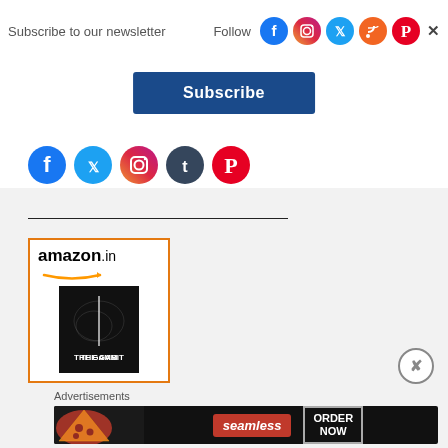Subscribe to our newsletter
Follow
[Figure (infographic): Social media follow icons: Facebook, Instagram, Twitter, RSS, Pinterest, close X]
[Figure (illustration): Subscribe button (dark blue, white text)]
[Figure (infographic): Row of social media icons: Facebook, Twitter, Instagram, and two more]
[Figure (advertisement): Amazon.in advertisement showing book 'The Gambit']
Advertisements
[Figure (advertisement): Seamless food delivery advertisement with pizza image and 'ORDER NOW' button]